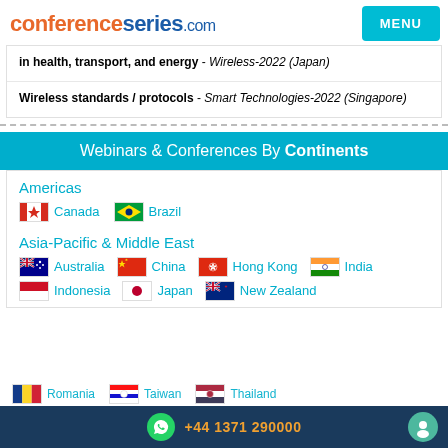conferenceseries.com
in health, transport, and energy - Wireless-2022 (Japan)
Wireless standards / protocols - Smart Technologies-2022 (Singapore)
Webinars & Conferences By Continents
Americas
Canada   Brazil
Asia-Pacific & Middle East
Australia  China  Hong Kong  India  Indonesia  Japan  New Zealand
+44 1371 290000
Romania  Taiwan  Thailand